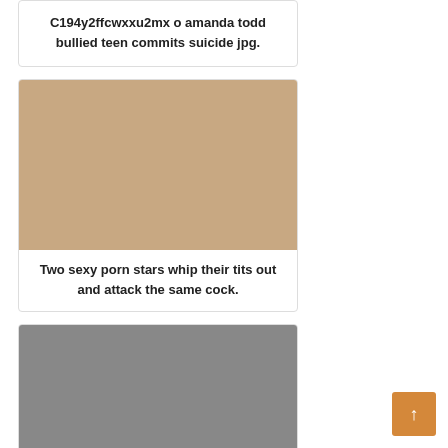C194y2ffcwxxu2mx o amanda todd bullied teen commits suicide jpg.
[Figure (photo): Photo of a nude woman in a sexual scene]
Two sexy porn stars whip their tits out and attack the same cock.
[Figure (photo): Photo of an older woman with glasses and a man in a suit behind her]
Tracey Ullman Calls Out Sexist Double